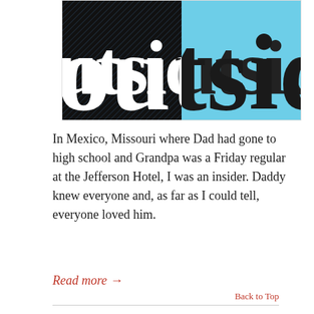[Figure (illustration): Book or magazine cover image showing the word 'outside' in large serif text, split diagonally — left half black background with white text and diagonal hatching lines, right half light blue background with dark text.]
In Mexico, Missouri where Dad had gone to high school and Grandpa was a Friday regular at the Jefferson Hotel, I was an insider. Daddy knew everyone and, as far as I could tell, everyone loved him.
Read more →
Back to Top